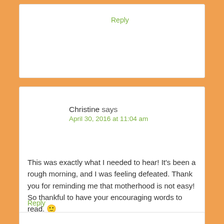Reply
Christine says
April 30, 2016 at 11:04 am
This was exactly what I needed to hear! It's been a rough morning, and I was feeling defeated. Thank you for reminding me that motherhood is not easy! So thankful to have your encouraging words to read. 🙂
Reply